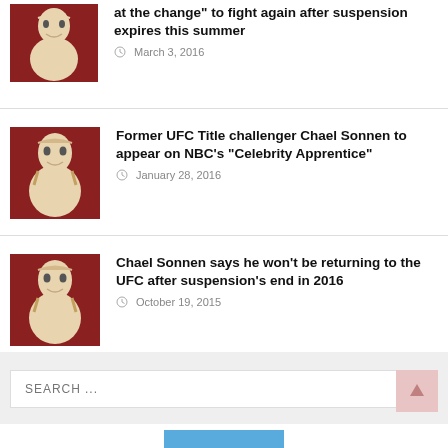[Figure (photo): Headshot of a man against red background (Chael Sonnen)]
at the change" to fight again after suspension expires this summer
March 3, 2016
[Figure (photo): Headshot of a man against red background (Chael Sonnen)]
Former UFC Title challenger Chael Sonnen to appear on NBC's "Celebrity Apprentice"
January 28, 2016
[Figure (photo): Headshot of a man against red background (Chael Sonnen)]
Chael Sonnen says he won't be returning to the UFC after suspension's end in 2016
October 19, 2015
SEARCH ...